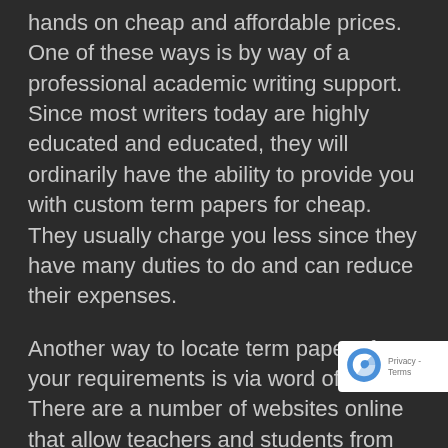hands on cheap and affordable prices. One of these ways is by way of a professional academic writing support. Since most writers today are highly educated and educated, they will ordinarily have the ability to provide you with custom term papers for cheap. They usually charge you less since they have many duties to do and can reduce their expenses.
Another way to locate term papers for your requirements is via word of mouth. There are a number of websites online that allow teachers and students from different schools and colleges to speed different academic authors based on various facets. This will allow you to compare different writers and pick those that are best for your requirements. Typically, term paper writers have been rated by how well they compose and examine the topics. Therefore, it's easy for you to find the perfect author for your requirements. The best
[Figure (other): reCAPTCHA badge widget with Privacy - Terms text]